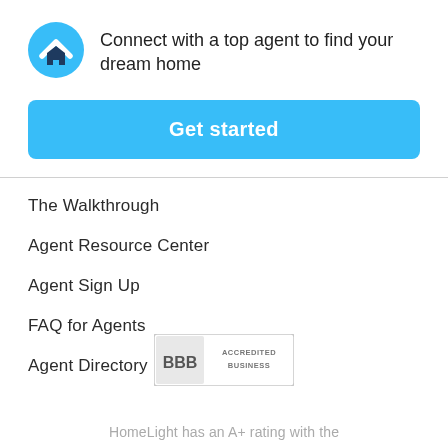[Figure (logo): HomeLight logo: circular blue icon with white chevron/arrow and dark navy house icon below]
Connect with a top agent to find your dream home
Get started
The Walkthrough
Agent Resource Center
Agent Sign Up
FAQ for Agents
Agent Directory
[Figure (logo): BBB Accredited Business badge/seal in gray tones]
HomeLight has an A+ rating with the